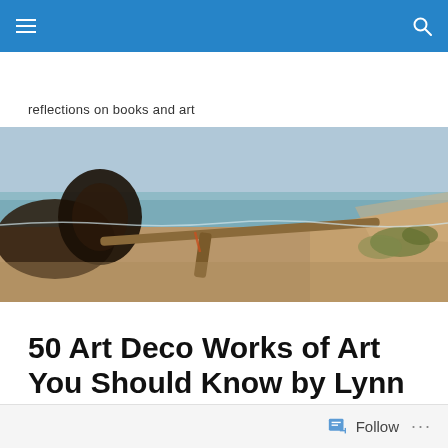Navigation bar with menu and search icons
reflections on books and art
[Figure (photo): Coastal beach scene with driftwood logs on sandy shore, ocean waves and overcast sky in background, sand dunes with scrub brush on right side]
50 Art Deco Works of Art You Should Know by Lynn Federle Orr (2015)
Follow ...